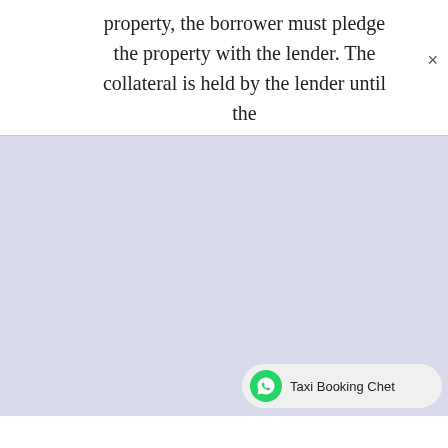property, the borrower must pledge the property with the lender. The collateral is held by the lender until the
[Figure (screenshot): A large lavender/light blue-purple blank area representing a webpage modal or overlay background]
Taxi Booking Chet